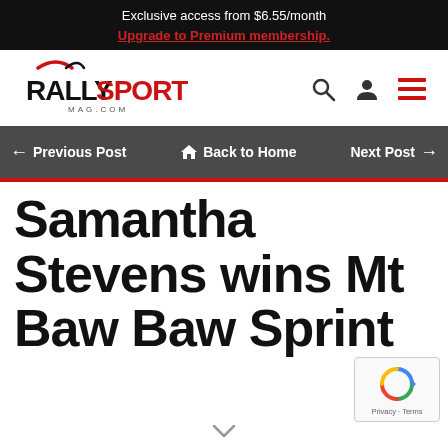Exclusive access from $6.55/month
Upgrade to Premium membership.
[Figure (logo): RallySport Mag.com logo with search, user, and menu icons]
← Previous Post   🏠 Back to Home   Next Post→
Samantha Stevens wins Mt Baw Baw Sprint